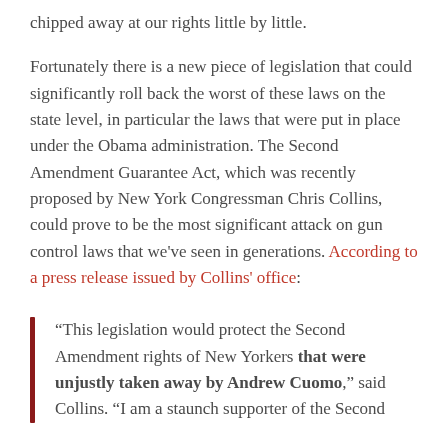chipped away at our rights little by little.
Fortunately there is a new piece of legislation that could significantly roll back the worst of these laws on the state level, in particular the laws that were put in place under the Obama administration. The Second Amendment Guarantee Act, which was recently proposed by New York Congressman Chris Collins, could prove to be the most significant attack on gun control laws that we've seen in generations. According to a press release issued by Collins' office:
“This legislation would protect the Second Amendment rights of New Yorkers that were unjustly taken away by Andrew Cuomo,” said Collins. “I am a staunch supporter of the Second